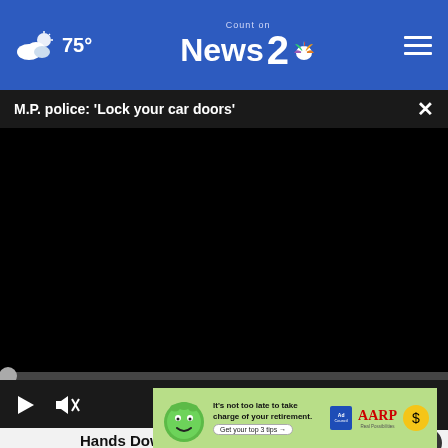75° Count on News 2 NBC
M.P. police: 'Lock your car doors'
[Figure (screenshot): Black video player area with playback controls: play button, mute icon, timestamp 00:00, subtitles icon, and fullscreen icon.]
Hands Down the Top Credit Card of 2022
CompareCredit
[Figure (infographic): AARP retirement ad banner with green mascot character, text 'It's not too late to take charge of your retirement. Get your top 3 tips →', Ad Council logo, AARP logo, and coin icon.]